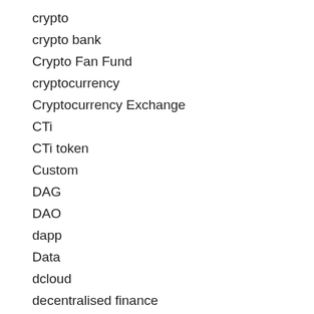crypto
crypto bank
Crypto Fan Fund
cryptocurrency
Cryptocurrency Exchange
CTi
CTi token
Custom
DAG
DAO
dapp
Data
dcloud
decentralised finance
decentralized
Decentralized exchange
Decentralized Finance